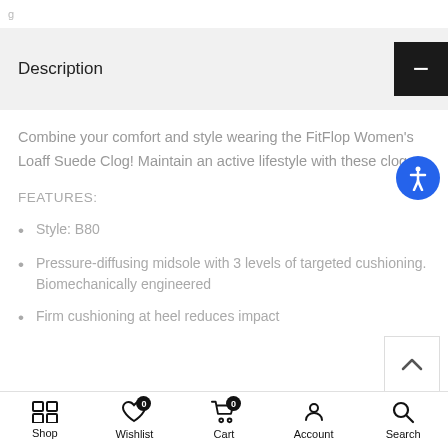Description
Combine your comfort and style wearing the FitFlop Women's Loaff Suede Clog! Maintain an active lifestyle with these clogs.
FEATURES:
Style: B80
Pressure-diffusing midsole with 3 levels of targeted cushioning. Biomechanically engineered
Firm cushioning at heel reduces impact
Shop  Wishlist  Cart  Account  Search